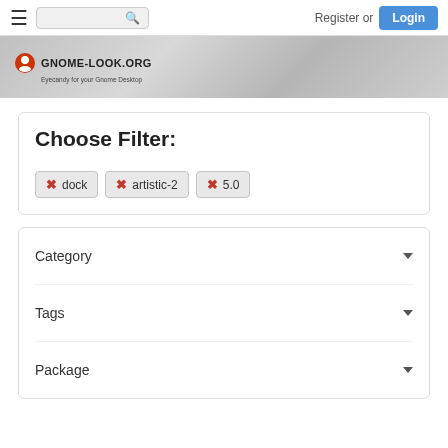Register or Login
[Figure (logo): GNOME-LOOK.ORG logo with text 'Eyecandy for your Gnome Desktop']
Choose Filter:
dock
artistic-2
5.0
Category
Tags
Package